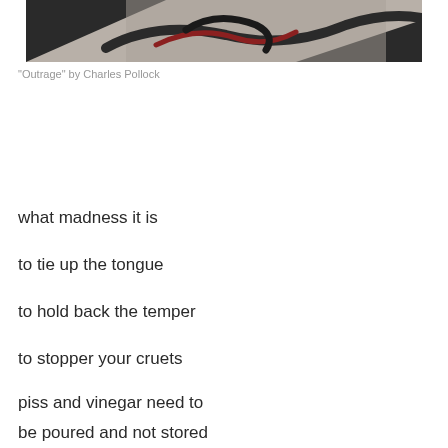[Figure (photo): Abstract painting 'Outrage' by Charles Pollock featuring dark geometric shapes and curved forms in muted grey, black, and red tones]
“Outrage” by Charles Pollock
what madness it is
to tie up the tongue
to hold back the temper
to stopper your cruets
piss and vinegar need to
be poured and not stored